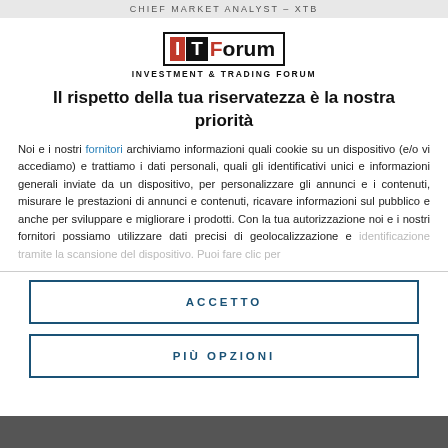CHIEF MARKET ANALYST – XTB
[Figure (logo): IT Forum - Investment & Trading Forum logo]
Il rispetto della tua riservatezza è la nostra priorità
Noi e i nostri fornitori archiviamo informazioni quali cookie su un dispositivo (e/o vi accediamo) e trattiamo i dati personali, quali gli identificativi unici e informazioni generali inviate da un dispositivo, per personalizzare gli annunci e i contenuti, misurare le prestazioni di annunci e contenuti, ricavare informazioni sul pubblico e anche per sviluppare e migliorare i prodotti. Con la tua autorizzazione noi e i nostri fornitori possiamo utilizzare dati precisi di geolocalizzazione e identificazione tramite la scansione del dispositivo. Puoi fare clic per
ACCETTO
PIÙ OPZIONI